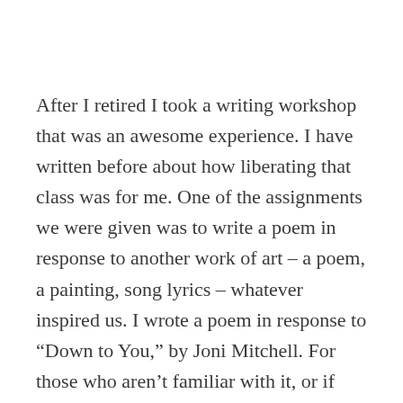After I retired I took a writing workshop that was an awesome experience. I have written before about how liberating that class was for me. One of the assignments we were given was to write a poem in response to another work of art – a poem, a painting, song lyrics – whatever inspired us. I wrote a poem in response to “Down to You,” by Joni Mitchell. For those who aren’t familiar with it, or if you don’t remember the lyrics, here they are: